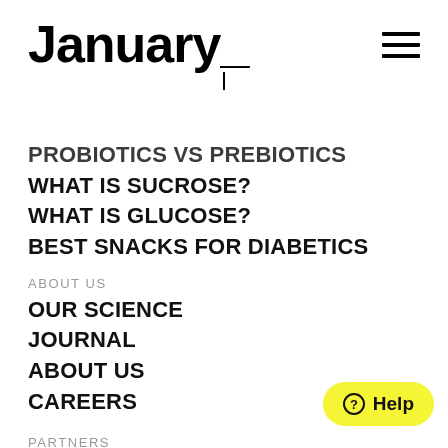January_
PROBIOTICS VS PREBIOTICS
WHAT IS SUCROSE?
WHAT IS GLUCOSE?
BEST SNACKS FOR DIABETICS
ABOUT US
OUR SCIENCE
JOURNAL
ABOUT US
CAREERS
PARTNERS
PHARMA
ENTERPRISE
SUPPORT